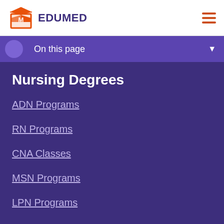EDUMED
On this page
Nursing Degrees
ADN Programs
RN Programs
CNA Classes
MSN Programs
LPN Programs